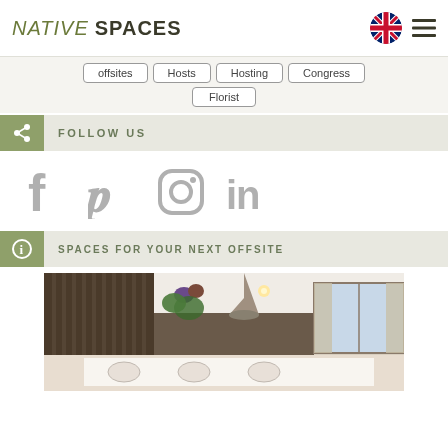NATIVE SPACES
offsites
Hosts
Hosting
Congress
Florist
FOLLOW US
[Figure (infographic): Social media icons: Facebook, Pinterest, Instagram, LinkedIn]
SPACES FOR YOUR NEXT OFFSITE
[Figure (photo): Interior photo of a meeting/conference room with wooden blinds, purple flowers, pendant lighting, and windows with curtains]